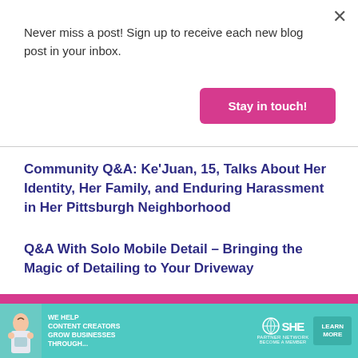Never miss a post! Sign up to receive each new blog post in your inbox.
Stay in touch!
Community Q&A: Ke'Juan, 15, Talks About Her Identity, Her Family, and Enduring Harassment in Her Pittsburgh Neighborhood
Q&A With Solo Mobile Detail – Bringing the Magic of Detailing to Your Driveway
READ MORE  THE ARTS
Beautiful – the Carole King Musical this weekend in Pittsburgh
[Figure (infographic): Advertisement banner: SHE Media Partner Network – We help content creators grow businesses through... Learn More button, teal background with woman holding laptop]